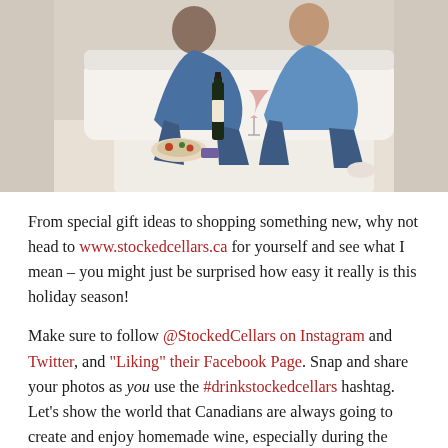[Figure (photo): Couple sitting on floor leaning against couch with wine bottle, wine glass, and food in foreground on a light carpet]
From special gift ideas to shopping something new, why not head to www.stockedcellars.ca for yourself and see what I mean – you might just be surprised how easy it really is this holiday season!
Make sure to follow @StockedCellars on Instagram and Twitter, and "Liking" their Facebook Page. Snap and share your photos as you use the #drinkstockedcellars hashtag. Let's show the world that Canadians are always going to create and enjoy homemade wine, especially during the holidays.